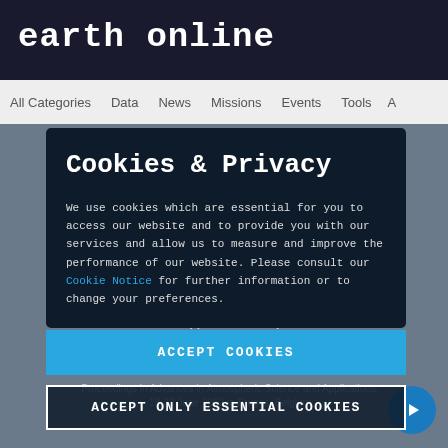earth online
All Categories   Data   News   Missions   Events   Tools   A
Cookies & Privacy
We use cookies which are essential for you to access our website and to provide you with our services and allow us to measure and improve the performance of our website. Please consult our Cookie Notice for further information or to change your preferences.
ACCEPT COOKIES
Advances-in-Atmospheric-Science-and-Applications.pdf
ACCEPT ONLY ESSENTIAL COOKIES
Proceedings in Advances in Atmospheric Science and Applications, 18-22 June 2012 in Bruges, Belgium